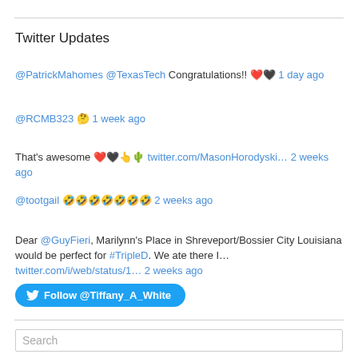Twitter Updates
@PatrickMahomes @TexasTech Congratulations!! ❤🖤 1 day ago
@RCMB323 🤔 1 week ago
That's awesome ❤🖤👆🌵 twitter.com/MasonHorodyski… 2 weeks ago
@tootgail 🤣🤣🤣🤣🤣🤣🤣 2 weeks ago
Dear @GuyFieri, Marilynn's Place in Shreveport/Bossier City Louisiana would be perfect for #TripleD. We ate there I… twitter.com/i/web/status/1… 2 weeks ago
Follow @Tiffany_A_White
Search